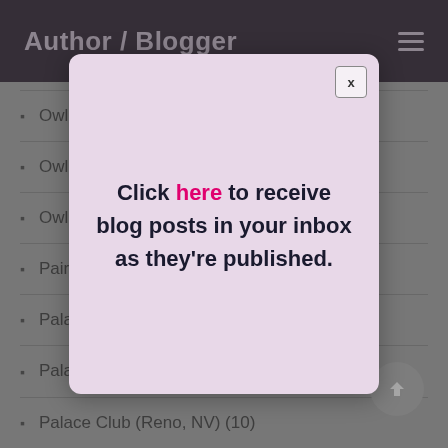Author / Blogger
Owl Cafe and Theatre (Calexico, Mexico) (1)
Owl Club (Calum...
Owl Club (Reno...
Pair O' Dice Clu...
Palace Club (Ely, NV) (1)
Palace Club (Las Vegas, NV) (1)
Palace Club (Reno, NV) (10)
[Figure (screenshot): Modal popup with text: Click here to receive blog posts in your inbox as they're published. Has an X close button in top-right corner.]